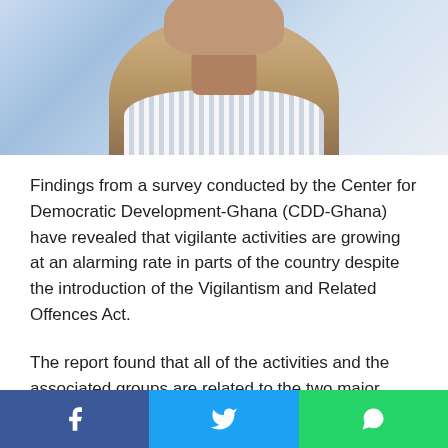[Figure (photo): Photo of a man wearing a striped shirt, cropped to show neck and lower face, with a light blue background]
Findings from a survey conducted by the Center for Democratic Development-Ghana (CDD-Ghana) have revealed that vigilante activities are growing at an alarming rate in parts of the country despite the introduction of the Vigilantism and Related Offences Act.
The report found that all of the activities and the associated groups are related to the two major political parties, the New Patriotic Party (NPP) and the National Democratic Congress (NDC).
It also found that women were beginning to play key roles in